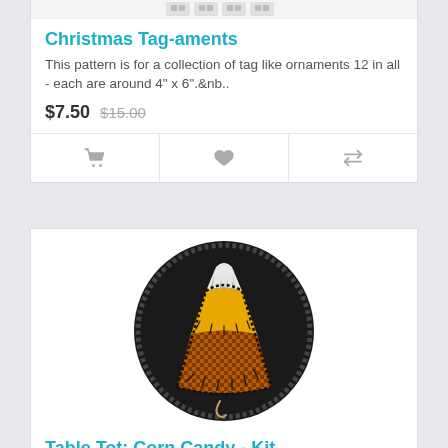[Figure (photo): Partial top card showing product image strip at top]
Christmas Tag-aments
This pattern is for a collection of tag like ornaments 12 in all - each are around 4" x 6".&nb..
$7.50  $15.00
[Figure (photo): Felt candy corn craft item on dark circular background — Table Tot: Corn Candy Kit product photo]
Table Tot: Corn Candy - Kit